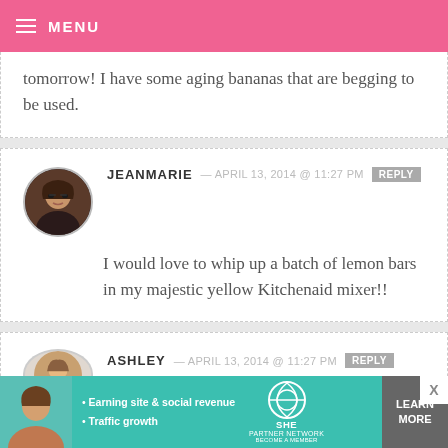MENU
tomorrow! I have some aging bananas that are begging to be used.
JEANMARIE — APRIL 13, 2014 @ 11:27 PM REPLY
I would love to whip up a batch of lemon bars in my majestic yellow Kitchenaid mixer!!
ASHLEY — APRIL 13, 2014 @ 11:27 PM REPLY
[Figure (photo): Advertisement banner: SHE Partner Network - Earning site & social revenue, Traffic growth. Learn More button.]